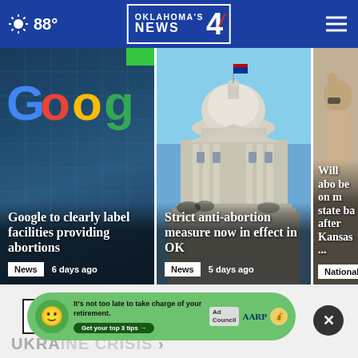88° Oklahoma's News 4
[Figure (screenshot): Google building exterior with Google logo letters visible]
Google to clearly label facilities providing abortions
News  6 days ago
[Figure (screenshot): Oklahoma State Capitol building with dome]
Strict anti-abortion measure now in effect in OK
News  5 days ago
[Figure (screenshot): Person with raised hand, partially cropped]
Will abortion be on more state ballots after Kansas...
National
More Abortion Coverage ›
UKRAINE CRISIS ›
[Figure (other): AARP advertisement: It's not too late to take charge of your retirement. Get your top 3 tips.]